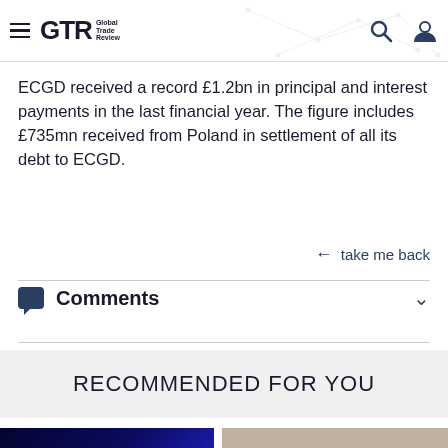GTR Global Trade Review
ECGD received a record £1.2bn in principal and interest payments in the last financial year. The figure includes £735mn received from Poland in settlement of all its debt to ECGD.
take me back
Comments
RECOMMENDED FOR YOU
[Figure (photo): Blue network visualization image]
[Figure (photo): Portrait photo of a man wearing glasses]